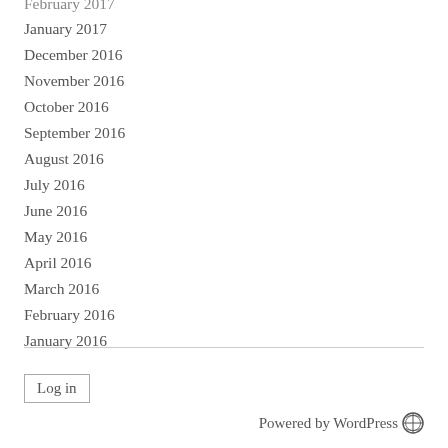February 2017
January 2017
December 2016
November 2016
October 2016
September 2016
August 2016
July 2016
June 2016
May 2016
April 2016
March 2016
February 2016
January 2016
Log in
Powered by WordPress